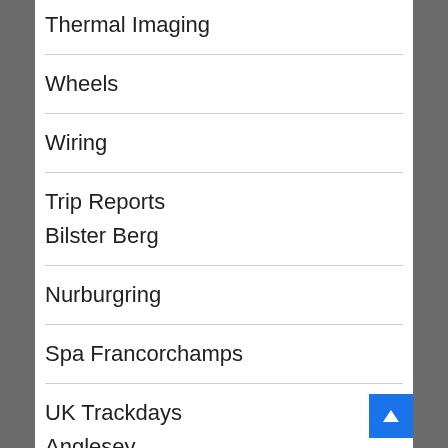Thermal Imaging
Wheels
Wiring
Trip Reports
Bilster Berg
Nurburgring
Spa Francorchamps
UK Trackdays
Anglesey
Bedford